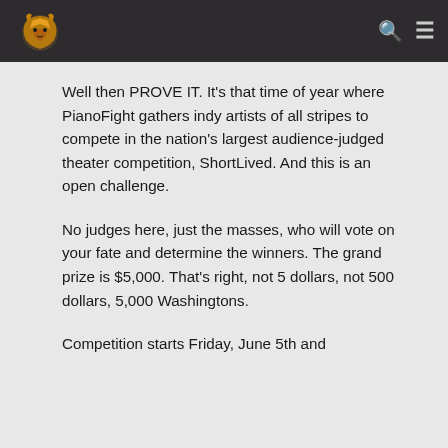PianoFight website header with logo and navigation icons
Well then PROVE IT. It’s that time of year where PianoFight gathers indy artists of all stripes to compete in the nation’s largest audience-judged theater competition, ShortLived. And this is an open challenge.
No judges here, just the masses, who will vote on your fate and determine the winners. The grand prize is $5,000. That’s right, not 5 dollars, not 500 dollars, 5,000 Washingtons.
Competition starts Friday, June 5th and